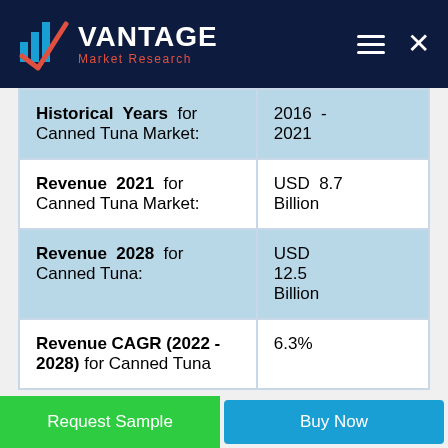[Figure (logo): Vantage Market Research logo with bar chart icon and checkmark, white text on dark navy background, with hamburger menu and X icons]
| Historical Years for Canned Tuna Market: | 2016 - 2021 |
| Revenue 2021 for Canned Tuna Market: | USD 8.7 Billion |
| Revenue 2028 for Canned Tuna: | USD 12.5 Billion |
| Revenue CAGR (2022 - 2028) for Canned Tuna | 6.3% |